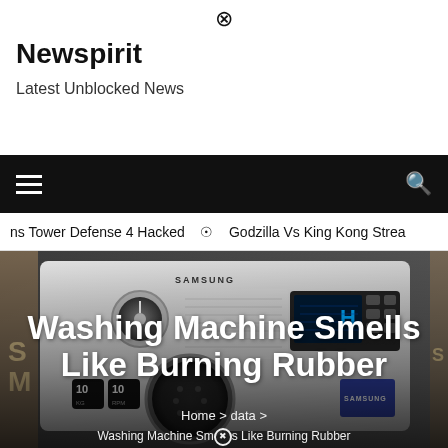⊗
Newspirit
Latest Unblocked News
≡  🔍
ns Tower Defense 4 Hacked  ⊙  Godzilla Vs King Kong Strea
[Figure (photo): Samsung front-loading washing machine with control panel visible, including dial, digital display, and buttons. Machine has '10' labels on front. Image is partially dark/shadowed.]
Washing Machine Smells Like Burning Rubber
Home > data >
Washing Machine Smells Like Burning Rubber